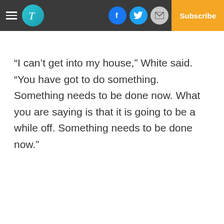Header navigation bar with hamburger menu, logo, social icons (Facebook, Twitter, Email), and Subscribe button
“I can’t get into my house,” White said. “You have got to do something. Something needs to be done now. What you are saying is that it is going to be a while off. Something needs to be done now.”